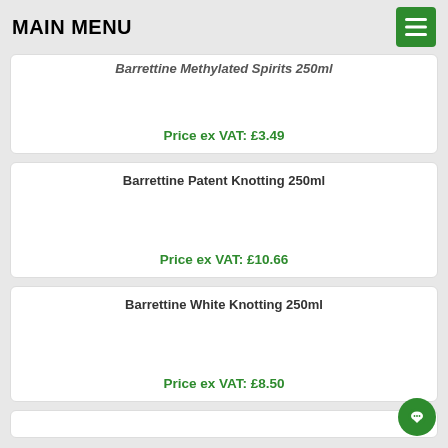MAIN MENU
Barrettine Methylated Spirits 250ml — Price ex VAT: £3.49
Barrettine Patent Knotting 250ml — Price ex VAT: £10.66
Barrettine White Knotting 250ml — Price ex VAT: £8.50
(partial card at bottom)